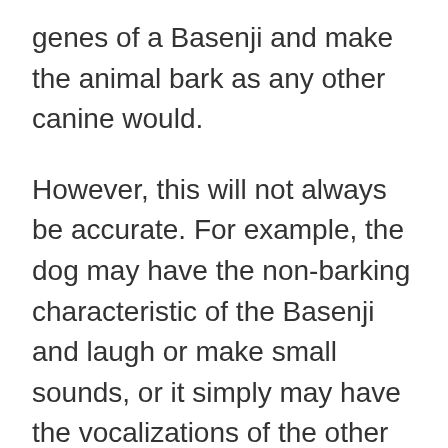genes of a Basenji and make the animal bark as any other canine would.
However, this will not always be accurate. For example, the dog may have the non-barking characteristic of the Basenji and laugh or make small sounds, or it simply may have the vocalizations of the other breed of dog and bark regularly and normally as any dog does.
What are the Kinds of Mixed Basenji